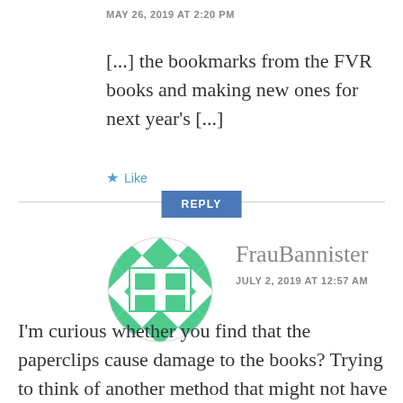MAY 26, 2019 AT 2:20 PM
[...] the bookmarks from the FVR books and making new ones for next year's [...]
★ Like
REPLY
[Figure (illustration): Circular avatar with green and white diamond/checkerboard pattern and a grid of four squares in the center, belonging to user FrauBannister]
FrauBannister
JULY 2, 2019 AT 12:57 AM
I'm curious whether you find that the paperclips cause damage to the books? Trying to think of another method that might not have that risk....